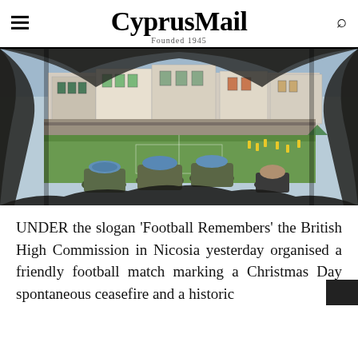CyprusMail — Founded 1945
[Figure (photo): View through a rocky cave or hole opening, showing UN peacekeepers in blue berets watching a football match on a grass pitch, with old Mediterranean-style buildings visible on a hillside in the background.]
UNDER the slogan 'Football Remembers' the British High Commission in Nicosia yesterday organised a friendly football match marking a Christmas Day spontaneous ceasefire and a historic